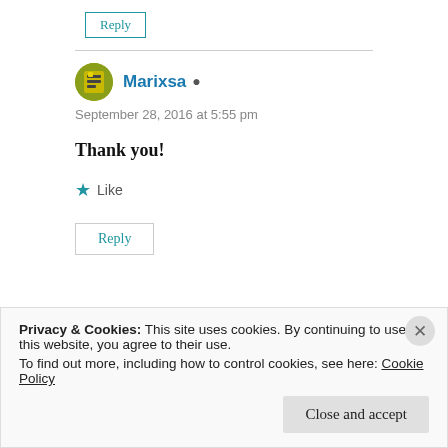Reply
Marixsa
September 28, 2016 at 5:55 pm
Thank you!
Like
Reply
Privacy & Cookies: This site uses cookies. By continuing to use this website, you agree to their use.
To find out more, including how to control cookies, see here: Cookie Policy
Close and accept